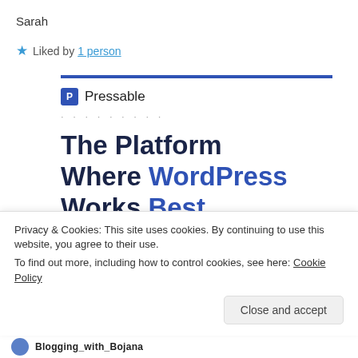Sarah
★ Liked by 1 person
[Figure (infographic): Pressable advertisement banner with blue rule, Pressable logo, dotted separator, headline 'The Platform Where WordPress Works Best', and a SEE PRICING button]
Privacy & Cookies: This site uses cookies. By continuing to use this website, you agree to their use.
To find out more, including how to control cookies, see here: Cookie Policy
Close and accept
Blogging_with_Bojana